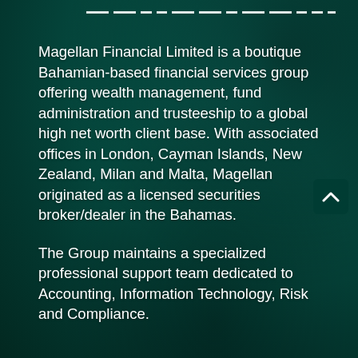[Figure (photo): Dark teal/green blurred background image with decorative dashed horizontal lines near the top, suggesting a financial or corporate branding aesthetic.]
Magellan Financial Limited is a boutique Bahamian-based financial services group offering wealth management, fund administration and trusteeship to a global high net worth client base. With associated offices in London, Cayman Islands, New Zealand, Milan and Malta, Magellan originated as a licensed securities broker/dealer in the Bahamas.
The Group maintains a specialized professional support team dedicated to Accounting, Information Technology, Risk and Compliance.